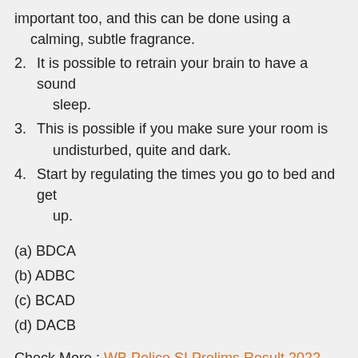important too, and this can be done using a calming, subtle fragrance.
2. It is possible to retrain your brain to have a sound sleep.
3. This is possible if you make sure your room is undisturbed, quite and dark.
4. Start by regulating the times you go to bed and get up.
(a) BDCA
(b) ADBC
(c) BCAD
(d) DACB
Check More : WB Police SI Prelims Result 2022,